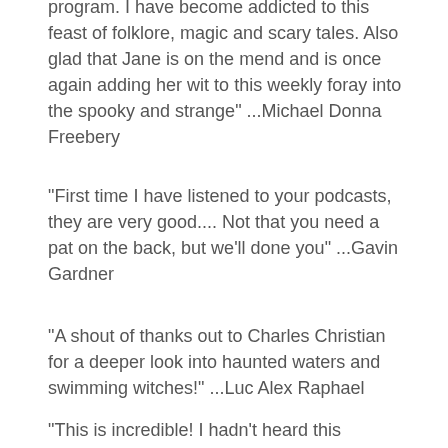program. I have become addicted to this feast of folklore, magic and scary tales. Also glad that Jane is on the mend and is once again adding her wit to this weekly foray into the spooky and strange" ...Michael Donna Freebery
"First time I have listened to your podcasts, they are very good.... Not that you need a pat on the back, but we'll done you" ...Gavin Gardner
"A shout of thanks out to Charles Christian for a deeper look into haunted waters and swimming witches!" ...Luc Alex Raphael
"This is incredible! I hadn't heard this